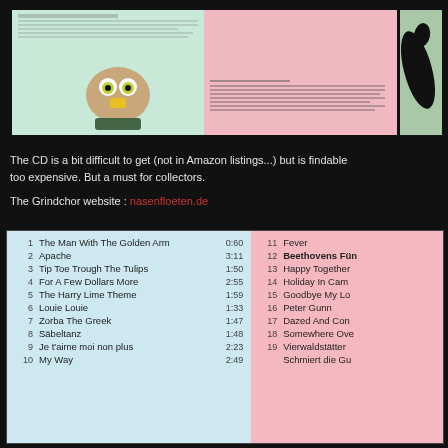[Figure (photo): Book spread showing two pages: left page has a puppet/creature with large eyes and small beak, right page has pink background with text. Also partial image of a bird silhouette on a green background on the right side.]
The CD is a bit difficult to get (not in Amazon listings...) but is findable too expensive. But a must for collectors.
The Grindchor website : nasenfloeten.de
| # | Title | Time | # | Title |
| --- | --- | --- | --- | --- |
| 1 | The Man With The Golden Arm | 0:60 | 11 | Fever |
| 2 | Apache | 3:11 | 12 | Beethovens Fün... |
| 3 | Tip Toe Trough The Tulips | 1:50 | 13 | Happy Together... |
| 4 | For A Few Dollars More | 2:55 | 14 | Holiday In Cam... |
| 5 | The Harry Lime Theme | 1:59 | 15 | Goodbye My Lo... |
| 6 | Louie Louie | 1:33 | 16 | Peter Gunn |
| 7 | Zorba The Greek | 1:47 | 17 | Dazed And Con... |
| 8 | Säbeltanz | 1:48 | 18 | Somewhere Ove... |
| 9 | Je t'aime moi non plus | 2:23 | 19 | Vierwaldstätter... |
| 10 | My Way | 2:49 | 20 | Schmiert die Gu... |